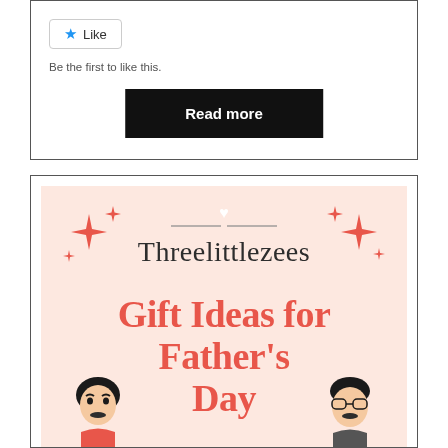Like
Be the first to like this.
Read more
[Figure (illustration): Promotional illustration for 'Threelittlezees' blog featuring 'Gift Ideas for Father's Day' text in decorative fonts on a peach/salmon background with sparkle decorations, a white heart, horizontal lines, and cartoon characters (child and father with glasses) at the bottom.]